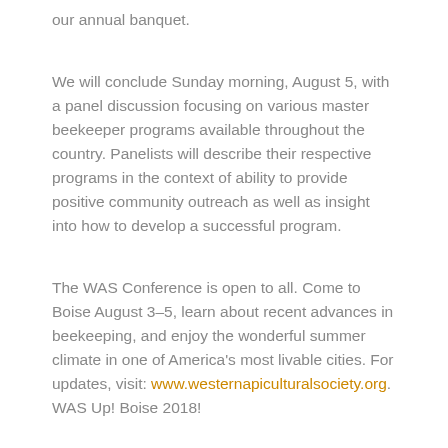our annual banquet.
We will conclude Sunday morning, August 5, with a panel discussion focusing on various master beekeeper programs available throughout the country. Panelists will describe their respective programs in the context of ability to provide positive community outreach as well as insight into how to develop a successful program.
The WAS Conference is open to all. Come to Boise August 3–5, learn about recent advances in beekeeping, and enjoy the wonderful summer climate in one of America's most livable cities. For updates, visit: www.westernapiculturalsociety.org.
WAS Up! Boise 2018!